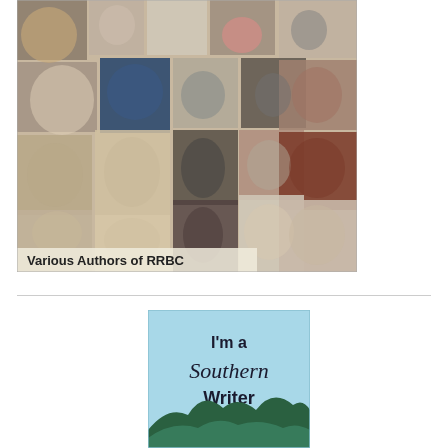[Figure (photo): A collage of various photographs of women of different ages, black and white and color photos, with text overlay reading 'Various Authors of RRBC' at the bottom left.]
[Figure (illustration): A light blue badge/banner image with text 'I'm a Southern Writer' in elegant font, with a silhouette of blue-green mountains along the bottom.]